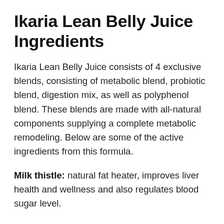Ikaria Lean Belly Juice Ingredients
Ikaria Lean Belly Juice consists of 4 exclusive blends, consisting of metabolic blend, probiotic blend, digestion mix, as well as polyphenol blend. These blends are made with all-natural components supplying a complete metabolic remodeling. Below are some of the active ingredients from this formula.
Milk thistle: natural fat heater, improves liver health and wellness and also regulates blood sugar level.
Taraxacum: burns stubborn fat, enhances